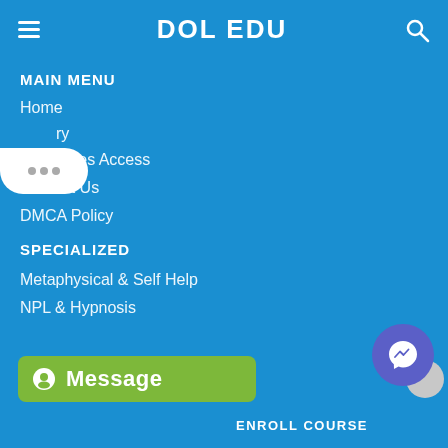DOL EDU
MAIN MENU
Home
…ry
…urses Access
Contact Us
DMCA Policy
SPECIALIZED
Metaphysical & Self Help
NPL & Hypnosis
Message
ENROLL COURSE